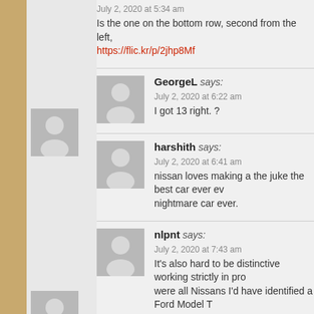July 2, 2020 at 5:34 am
Is the one on the bottom row, second from the left, https://flic.kr/p/2jhp8Mf
GeorgeL says:
July 2, 2020 at 6:22 am
I got 13 right. ?
harshith says:
July 2, 2020 at 6:41 am
nissan loves making a the juke the best car ever ev... nightmare car ever.
nlpnt says:
July 2, 2020 at 7:43 am
It's also hard to be distinctive working strictly in pro... were all Nissans I'd have identified a Ford Model T with hardtop, Mercedes 190SL W121, Scion xB1, J... Pace.